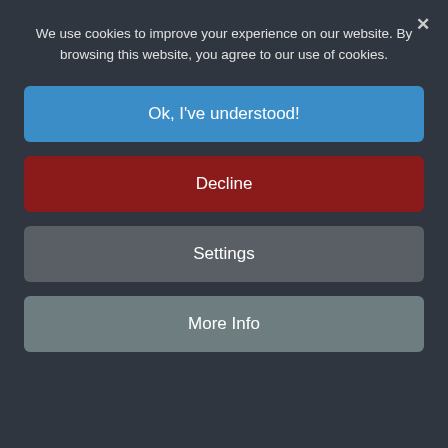We use cookies to improve your experience on our website. By browsing this website, you agree to our use of cookies.
Ok, I've understood!
Decline
Settings
More Info
teaching the children to embrace these as they develop, we can help children to become outstanding members of the community - these Values are for life, not just for the school year.
If you would like to come to school to see us in action or require any further information, please